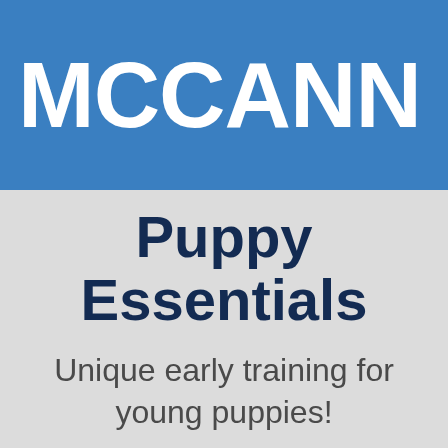[Figure (logo): McCann Dogs logo - white bold uppercase text 'McCANN DO' (partially cropped) on a blue background banner]
Puppy Essentials
Unique early training for young puppies!